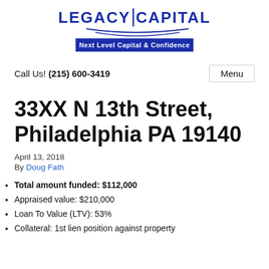[Figure (logo): Legacy Capital logo with text 'Next Level Capital & Confidence' on blue banner]
Call Us! (215) 600-3419
Menu
33XX N 13th Street, Philadelphia PA 19140
April 13, 2018
By Doug Fath
Total amount funded: $112,000
Appraised value: $210,000
Loan To Value (LTV): 53%
Collateral: 1st lien position against property